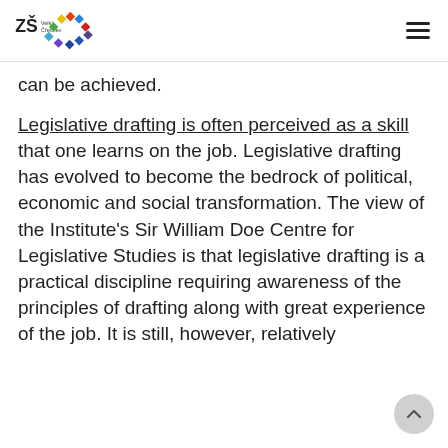ZŠ Velký Čřechev [logo] [hamburger menu]
can be achieved.
Legislative drafting is often perceived as a skill that one learns on the job. Legislative drafting has evolved to become the bedrock of political, economic and social transformation. The view of the Institute's Sir William Doe Centre for Legislative Studies is that legislative drafting is a practical discipline requiring awareness of the principles of drafting along with great experience of the job. It is still, however, relatively